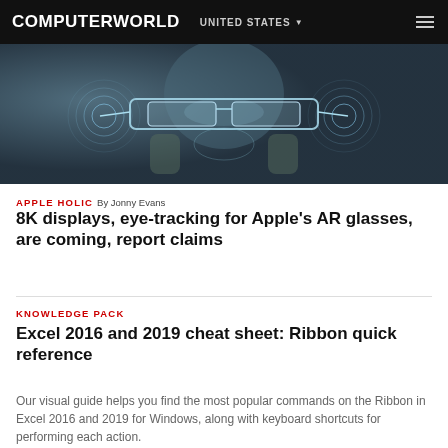COMPUTERWORLD  UNITED STATES
[Figure (photo): A person holding or wearing augmented reality glasses with glowing holographic display elements and concentric ring patterns on a dark background.]
APPLE HOLIC By Jonny Evans
8K displays, eye-tracking for Apple's AR glasses, are coming, report claims
KNOWLEDGE PACK
Excel 2016 and 2019 cheat sheet: Ribbon quick reference
Our visual guide helps you find the most popular commands on the Ribbon in Excel 2016 and 2019 for Windows, along with keyboard shortcuts for performing each action.